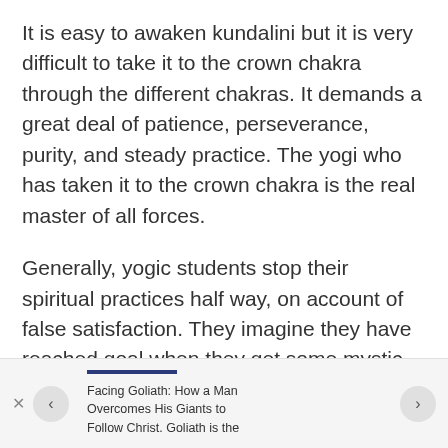It is easy to awaken kundalini but it is very difficult to take it to the crown chakra through the different chakras. It demands a great deal of patience, perseverance, purity, and steady practice. The yogi who has taken it to the crown chakra is the real master of all forces.
Generally, yogic students stop their spiritual practices half way, on account of false satisfaction. They imagine they have reached goal when they get some mystic experiences and psychic powers. They desire to demonstrate such powers to the public to get reputation and fame and to earn money. This is a
Facing Goliath: How a Man Overcomes His Giants to Follow Christ. Goliath is the